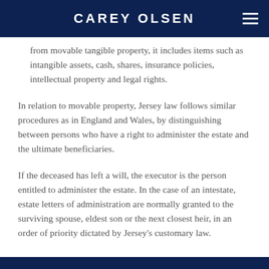CAREY OLSEN
from movable tangible property, it includes items such as intangible assets, cash, shares, insurance policies, intellectual property and legal rights.
In relation to movable property, Jersey law follows similar procedures as in England and Wales, by distinguishing between persons who have a right to administer the estate and the ultimate beneficiaries.
If the deceased has left a will, the executor is the person entitled to administer the estate. In the case of an intestate, estate letters of administration are normally granted to the surviving spouse, eldest son or the next closest heir, in an order of priority dictated by Jersey's customary law.